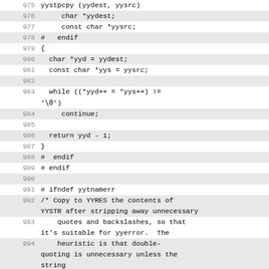Source code listing lines 975-996, showing yystpcpy function and surrounding preprocessor directives
975: yystpcpy (yydest, yysrc)
976:     char *yydest;
977:     const char *yysrc;
978: #   endif
979: {
980:   char *yyd = yydest;
981:   const char *yys = yysrc;
982:
983:   while ((*yyd++ = *yys++) != '\0')
984:     continue;
985:
986:   return yyd - 1;
987: }
988: #  endif
989: # endif
990:
991: # ifndef yytnamerr
992: /* Copy to YYRES the contents of YYSTR after stripping away unnecessary
993:     quotes and backslashes, so that it's suitable for yyerror.  The
994:     heuristic is that double-quoting is unnecessary unless the string
995:     contains an apostrophe, a comma, or backslash (other than
996:     backslash-backslash).  YYSTR is